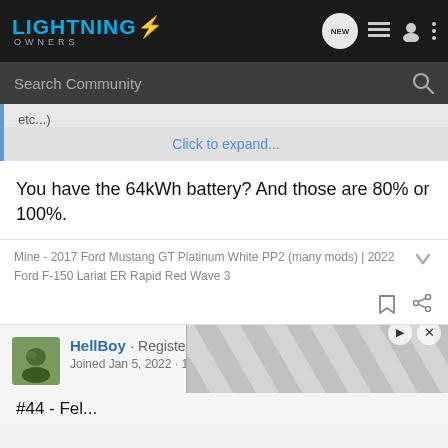LIGHTNING OWNERS — navigation bar with search
etc...)
Click to expand...
You have the 64kWh battery? And those are 80% or 100%.
Mine - 2017 Ford Mustang GT Platinum White PP2 (many mods) | 2022 Ford F-150 Lariat ER Rapid Red Wave 3
HellBoy · Registered 🇺🇸
Joined Jan 5, 2022 · 172 Posts